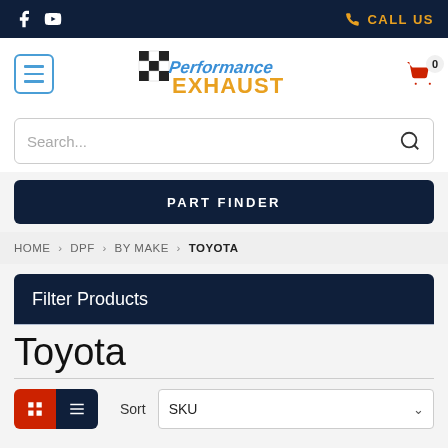f [youtube] CALL US
[Figure (logo): Performance Exhaust logo with checkered flag]
Search...
PART FINDER
HOME › DPF › BY MAKE › TOYOTA
Filter Products
Toyota
Sort SKU